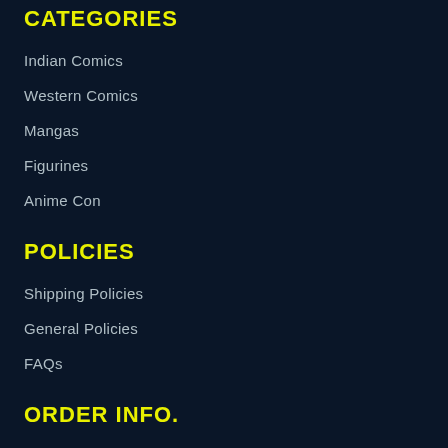CATEGORIES
Indian Comics
Western Comics
Mangas
Figurines
Anime Con
POLICIES
Shipping Policies
General Policies
FAQs
ORDER INFO.
Order Tracking